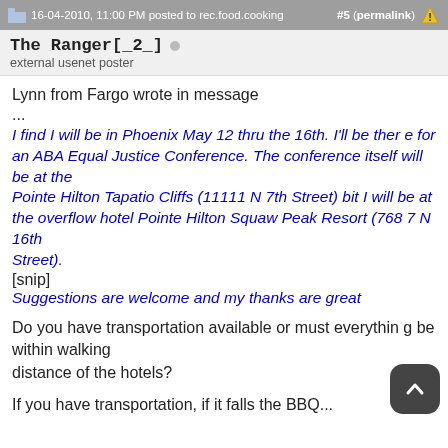16-04-2010, 11:00 PM posted to rec.food.cooking   #5 (permalink)
The Ranger[_2_]
external usenet poster
Lynn from Fargo wrote in message
...
I find I will be in Phoenix May 12 thru the 16th. I'll be there for an ABA Equal Justice Conference. The conference itself will be at the Pointe Hilton Tapatio Cliffs (11111 N 7th Street) bit I will be at the overflow hotel Pointe Hilton Squaw Peak Resort (7687 N 16th Street).
[snip]
Suggestions are welcome and my thanks are great
Do you have transportation available or must everything be within walking distance of the hotels?
If you have transportation, if it falls the BBQ...